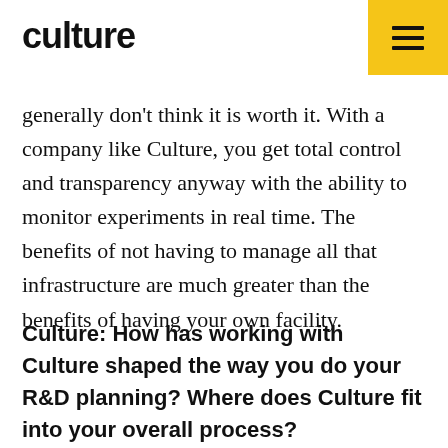culture
generally don't think it is worth it. With a company like Culture, you get total control and transparency anyway with the ability to monitor experiments in real time. The benefits of not having to manage all that infrastructure are much greater than the benefits of having your own facility.
Culture: How has working with Culture shaped the way you do your R&D planning? Where does Culture fit into your overall process?